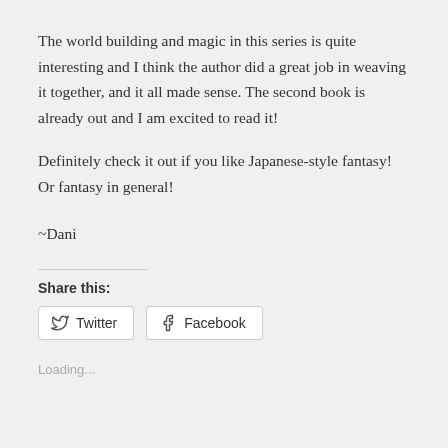The world building and magic in this series is quite interesting and I think the author did a great job in weaving it together, and it all made sense. The second book is already out and I am excited to read it!
Definitely check it out if you like Japanese-style fantasy! Or fantasy in general!
~Dani
Share this:
Twitter  Facebook
Loading...